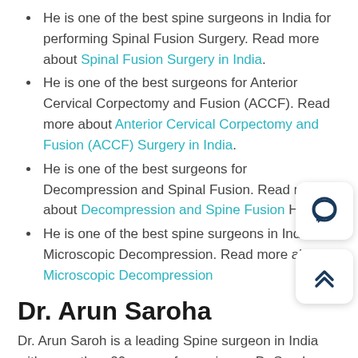He is one of the best spine surgeons in India for performing Spinal Fusion Surgery. Read more about Spinal Fusion Surgery in India.
He is one of the best surgeons for Anterior Cervical Corpectomy and Fusion (ACCF). Read more about Anterior Cervical Corpectomy and Fusion (ACCF) Surgery in India.
He is one of the best surgeons for Decompression and Spinal Fusion. Read more about Decompression and Spine Fusion Here.
He is one of the best spine surgeons in India for Microscopic Decompression. Read more about Microscopic Decompression
Dr. Arun Saroha
Dr. Arun Saroh is a leading Spine surgeon in India with more than 20 years of experience. Dr Saroha completed Medical Schooling from the prestigious